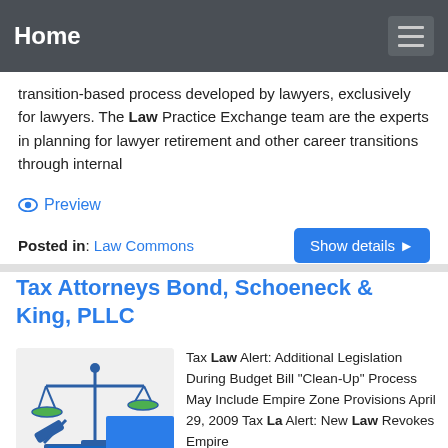Home
transition-based process developed by lawyers, exclusively for lawyers. The Law Practice Exchange team are the experts in planning for lawyer retirement and other career transitions through internal
Preview
Posted in: Law Commons
Tax Attorneys Bond, Schoeneck & King, PLLC
[Figure (illustration): Law scales and gavel illustration with the word LAW on books]
Tax Law Alert: Additional Legislation During Budget Bill "Clean-Up" Process May Include Empire Zone Provisions April 29, 2009 Tax Law Alert: New Law Revokes Empire